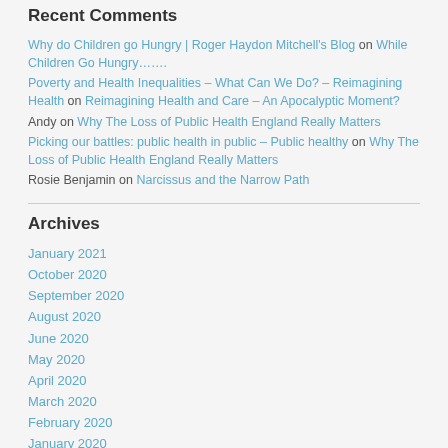Recent Comments
Why do Children go Hungry | Roger Haydon Mitchell's Blog on While Children Go Hungry…….
Poverty and Health Inequalities – What Can We Do? – Reimagining Health on Reimagining Health and Care – An Apocalyptic Moment?
Andy on Why The Loss of Public Health England Really Matters
Picking our battles: public health in public – Public healthy on Why The Loss of Public Health England Really Matters
Rosie Benjamin on Narcissus and the Narrow Path
Archives
January 2021
October 2020
September 2020
August 2020
June 2020
May 2020
April 2020
March 2020
February 2020
January 2020
November 2019